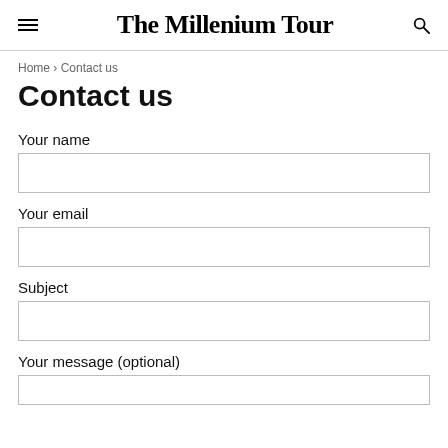The Millenium Tour
Home › Contact us
Contact us
Your name
Your email
Subject
Your message (optional)